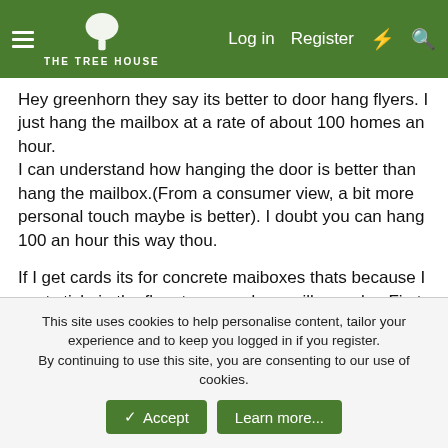THE TREE HOUSE — Log in | Register
Hey greenhorn they say its better to door hang flyers. I just hang the mailbox at a rate of about 100 homes an hour.
I can understand how hanging the door is better than hang the mailbox.(From a consumer view, a bit more personal touch maybe is better). I doubt you can hang 100 an hour this way thou.

If I get cards its for concrete maiboxes thats because I cant stickpin the flyer to a wooden mailbox pole . First, I go by the arts and crafs store and get magnetic strips and cut them apart and stick(adhesive is on back of magnet) the magnet to the back of the card then the card goes on the mailbox. Upwards of 175 cards an hour can be deployed this way you just smack the mail box and keep on rolling.
This site uses cookies to help personalise content, tailor your experience and to keep you logged in if you register.
By continuing to use this site, you are consenting to our use of cookies.